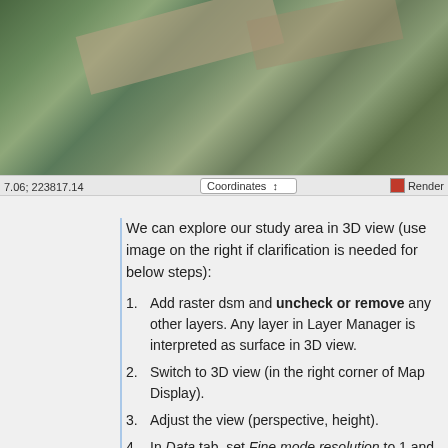[Figure (screenshot): Aerial satellite view of a study area showing buildings, trees, and green spaces from above, with a status bar showing coordinates 7.06; 223817.14 and a Coordinates dropdown and Render checkbox]
We can explore our study area in 3D view (use image on the right if clarification is needed for below steps):
1. Add raster dsm and uncheck or remove any other layers. Any layer in Layer Manager is interpreted as surface in 3D view.
2. Switch to 3D view (in the right corner of Map Display).
3. Adjust the view (perspective, height).
4. In Data tab, set Fine mode resolution to 1 and set ortho as